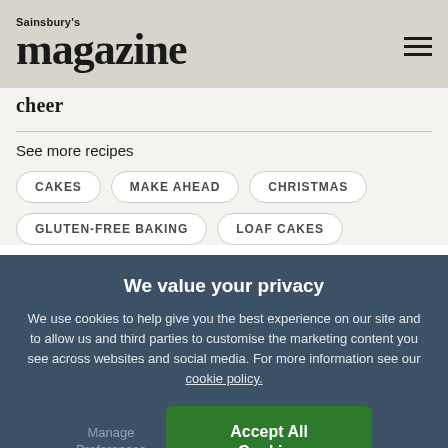Sainsbury's magazine
cheer
See more recipes
CAKES
MAKE AHEAD
CHRISTMAS
GLUTEN-FREE BAKING
LOAF CAKES
We value your privacy
We use cookies to help give you the best experience on our site and to allow us and third parties to customise the marketing content you see across websites and social media. For more information see our cookie policy.
Manage Preferences
Accept All Cookies